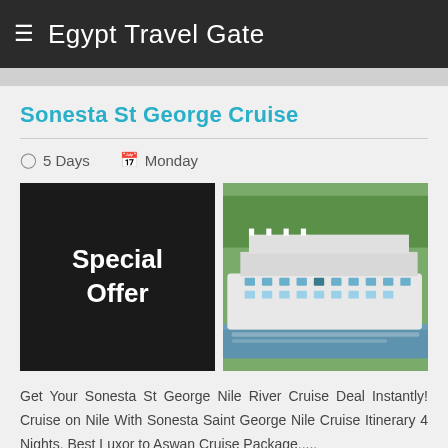Egypt Travel Gate
Sonesta St George Cruise
⏱ 5 Days   📅 Monday
[Figure (infographic): Special Offer black box with white bold text]
[Figure (photo): Sonesta St George Nile cruise ship on river with green vegetation in background]
Get Your Sonesta St George Nile River Cruise Deal Instantly! Cruise on Nile With Sonesta Saint George Nile Cruise Itinerary 4 Nights. Best Luxor to Aswan Cruise Package.....
View Tour
Get Free Quote